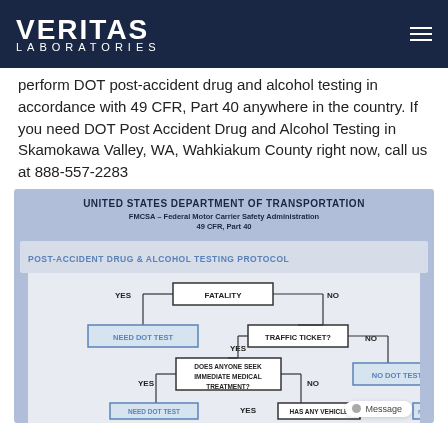VERITAS LABORATORIES
perform DOT post-accident drug and alcohol testing in accordance with 49 CFR, Part 40 anywhere in the country. If you need DOT Post Accident Drug and Alcohol Testing in Skamokawa Valley, WA, Wahkiakum County right now, call us at 888-557-2283
[Figure (flowchart): United States Department of Transportation FMCSA - Federal Motor Carrier Safety Administration 49 CFR, Part 40. POST-ACCIDENT DRUG & ALCOHOL TESTING PROTOCOL flowchart showing: FATALITY with YES branch to NEED DOT TEST and NO branch to TRAFFIC TICKET?; TRAFFIC TICKET? YES leads to DOES ANYONE SEEK IMMEDIATE MEDICAL TREATMENT? with YES/NO branches; TRAFFIC TICKET? NO leads to NO DOT TEST. Lower portion shows additional branches with HAS ANY VEHICLE and NEED DOT TEST nodes.]